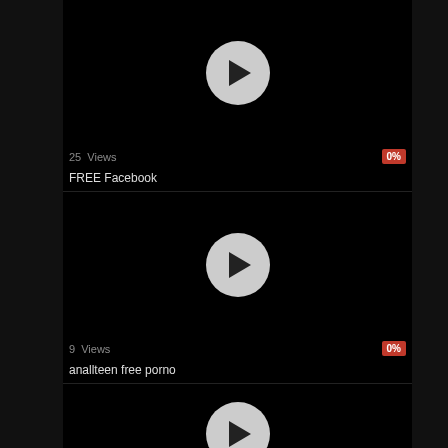[Figure (screenshot): Video thumbnail 1 - black background with circular play button]
25 Views
0%
FREE Facebook
[Figure (screenshot): Video thumbnail 2 - black background with circular play button]
9 Views
0%
anallteen free porno
[Figure (screenshot): Video thumbnail 3 - black background with circular play button (partial)]